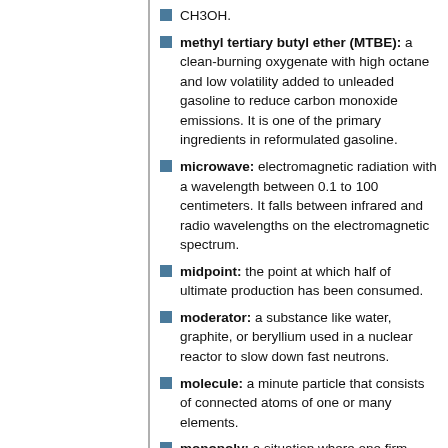CH3OH.
methyl tertiary butyl ether (MTBE): a clean-burning oxygenate with high octane and low volatility added to unleaded gasoline to reduce carbon monoxide emissions. It is one of the primary ingredients in reformulated gasoline.
microwave: electromagnetic radiation with a wavelength between 0.1 to 100 centimeters. It falls between infrared and radio wavelengths on the electromagnetic spectrum.
midpoint: the point at which half of ultimate production has been consumed.
moderator: a substance like water, graphite, or beryllium used in a nuclear reactor to slow down fast neutrons.
molecule: a minute particle that consists of connected atoms of one or many elements.
monopoly: a situation where one firm controls market sales. A monopoly can produce a given level of output at a lower total cost than can any combination of